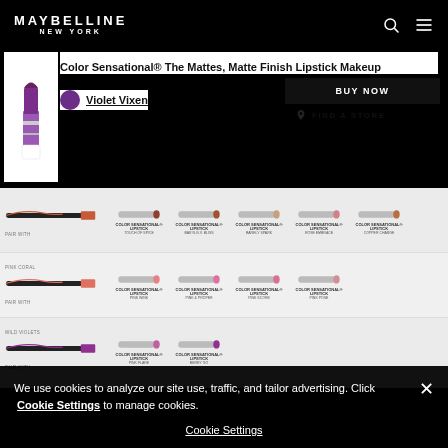[Figure (logo): Maybelline New York logo in white on black header]
Color Sensational® The Mattes, Matte Finish Lipstick Makeup
Violet Vixen
BUY NOW
FIND A STORE
[Figure (photo): Product grid showing lipstick shades paired with lip pencils across three rows: Touch of Spice, Bar N.G.V. Bliss, Barely Spark, Rose Embrace, Copper Charge; Pink Wink, Pink & Proper, Pink Score, Pink Pose; Pink Flare, Berry Go]
We use cookies to analyze our site use, traffic, and tailor advertising. Click Cookie Settings to manage cookies.
Cookie Settings